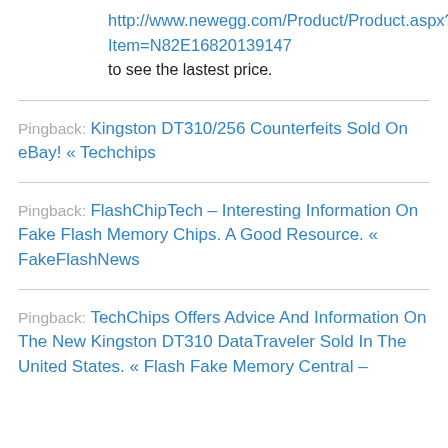http://www.newegg.com/Product/Product.aspx?Item=N82E16820139147
to see the lastest price.
Pingback: Kingston DT310/256 Counterfeits Sold On eBay! « Techchips
Pingback: FlashChipTech – Interesting Information On Fake Flash Memory Chips. A Good Resource. « FakeFlashNews
Pingback: TechChips Offers Advice And Information On The New Kingston DT310 DataTraveler Sold In The United States. « Flash Fake Memory Central –